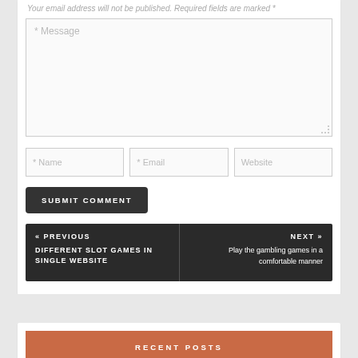Your email address will not be published. Required fields are marked *
[Figure (screenshot): Web form with Message textarea, Name/Email/Website input fields, Submit Comment button, Previous/Next navigation bar (« PREVIOUS: DIFFERENT SLOT GAMES IN SINGLE WEBSITE | NEXT »: Play the gambling games in a comfortable manner), and a Recent Posts section header bar]
RECENT POSTS